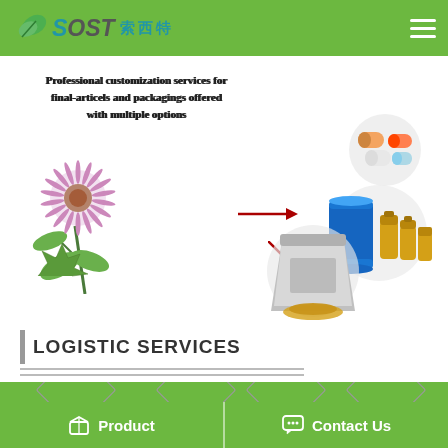SOST 索西特
[Figure (infographic): Promotional infographic showing plant-based product customization: a purple thistle flower on the left, arrows pointing to circular images of pills/capsules, a powder pouch, and drums/bottles of liquid products on the right]
Professional customization services for final-articels and packagings offered with multiple options
LOGISTIC SERVICES
[Figure (infographic): Green background section showing diamond-shaped product packaging images: metallic pouch, supplement bottle, blue drum barrel, cardboard tube containers]
Product   Contact Us